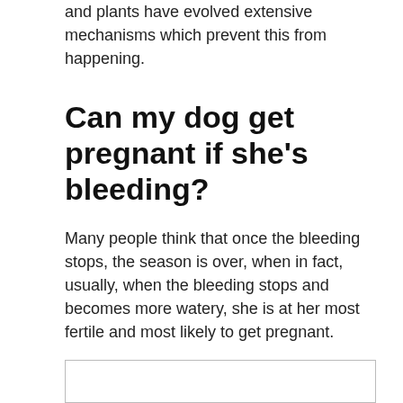and plants have evolved extensive mechanisms which prevent this from happening.
Can my dog get pregnant if she’s bleeding?
Many people think that once the bleeding stops, the season is over, when in fact, usually, when the bleeding stops and becomes more watery, she is at her most fertile and most likely to get pregnant.